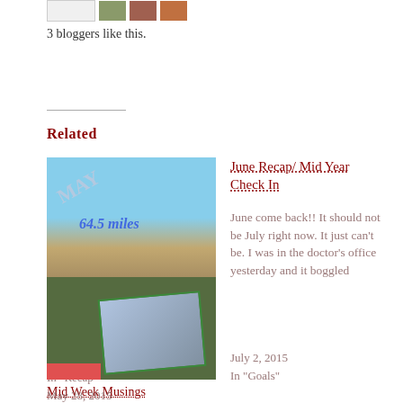[Figure (photo): Three small avatar/profile images at the top of the page]
3 bloggers like this.
Related
[Figure (photo): Beach photo with blue sky and '64.5 miles' text overlay, watermark 'MAY']
May Recap = No Excuses Summer
June 3, 2014
In "Recap"
June Recap/ Mid Year Check In
June come back!!  It should not be July right now.  It just can't be.  I was in the doctor's office yesterday and it boggled
July 2, 2015
In "Goals"
[Figure (photo): Outdoor photo with trees and a tilted photo of clouds, red element at bottom left]
Mid Week Musings
May 28, 2015